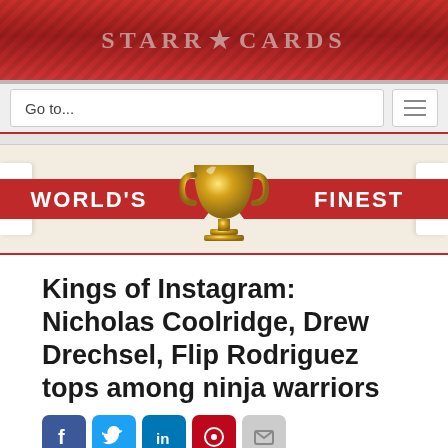STARR★CARDS
Go to...
[Figure (logo): World's Finest banner with gold trophy in center, red ribbon banners on left and right reading WORLD'S and FINEST]
Kings of Instagram: Nicholas Coolridge, Drew Drechsel, Flip Rodriguez tops among ninja warriors
[Figure (screenshot): Social share buttons: Facebook (blue), Twitter (cyan), LinkedIn (blue), Pinterest (red), Email (gray)]
[Figure (screenshot): Video thumbnail showing Ninja vs Ninja logo on dark background with caption: Nicholas Coolridge at 2015 Venice]